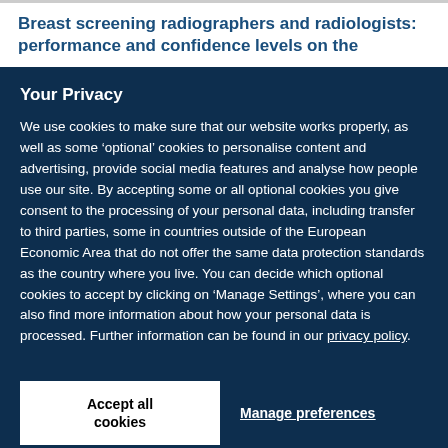Breast screening radiographers and radiologists: performance and confidence levels on the
Your Privacy
We use cookies to make sure that our website works properly, as well as some ‘optional’ cookies to personalise content and advertising, provide social media features and analyse how people use our site. By accepting some or all optional cookies you give consent to the processing of your personal data, including transfer to third parties, some in countries outside of the European Economic Area that do not offer the same data protection standards as the country where you live. You can decide which optional cookies to accept by clicking on ‘Manage Settings’, where you can also find more information about how your personal data is processed. Further information can be found in our privacy policy.
Accept all cookies
Manage preferences